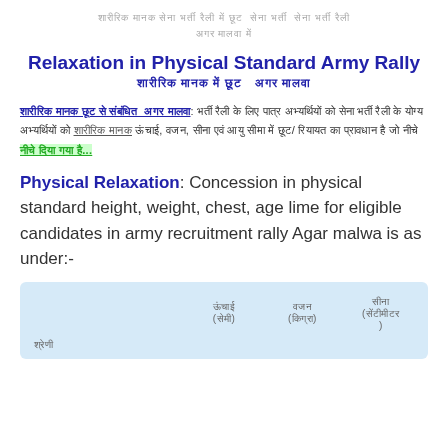शारीरिक मानक सेना भर्ती रैली में छूट
Relaxation in Physical Standard Army Rally
शारीरिक मानक में छूट
शारीरिक मानक छूट से संबंधित: भर्ती रैली अगर मालवा के लिए पात्र अभ्यर्थियों को सेना भर्ती रैली में ऊंचाई, वजन, सीना एवं आयु सीमा में छूट/ रियायत का प्रावधान है जो नीचे दिया गया है...
Physical Relaxation: Concession in physical standard height, weight, chest, age lime for eligible candidates in army recruitment rally Agar malwa is as under:-
| श्रेणी | ऊंचाई (सेमी) | वजन (किग्रा) | सीना (सेंटीमीटर) |
| --- | --- | --- | --- |